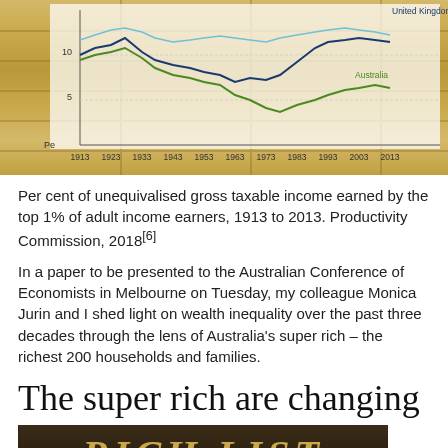[Figure (line-chart): Line chart showing per cent of unequivalised gross taxable income earned by the top 1% of adult income earners from 1913 to 2013, for United Kingdom and Australia. Background shows gold bars image.]
Per cent of unequivalised gross taxable income earned by the top 1% of adult income earners, 1913 to 2013. Productivity Commission, 2018[6]
In a paper to be presented to the Australian Conference of Economists in Melbourne on Tuesday, my colleague Monica Jurin and I shed light on wealth inequality over the past three decades through the lens of Australia's super rich – the richest 200 households and families.
The super rich are changing
[Figure (photo): Rich List book/magazine cover with gold text on dark background]